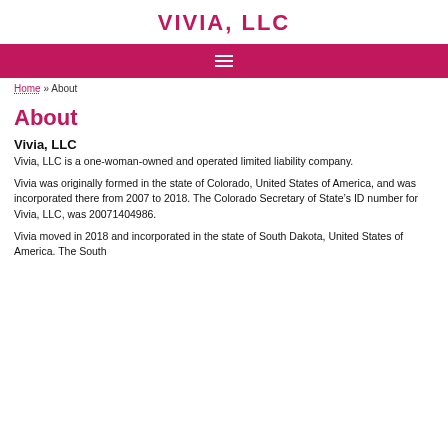VIVIA, LLC
About
Vivia, LLC
Vivia, LLC is a one-woman-owned and operated limited liability company.
Vivia was originally formed in the state of Colorado, United States of America, and was incorporated there from 2007 to 2018. The Colorado Secretary of State’s ID number for Vivia, LLC, was 20071404986.
Vivia moved in 2018 and incorporated in the state of South Dakota, United States of America. The South